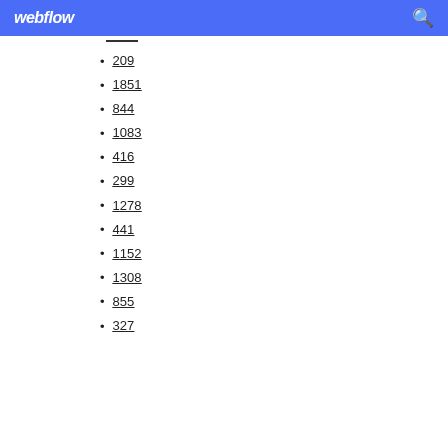webflow
209
1851
844
1083
416
299
1278
441
1152
1308
855
327